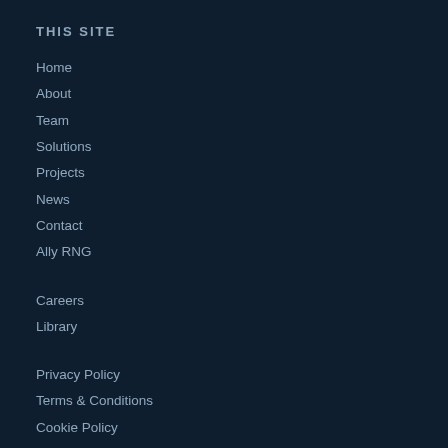THIS SITE
Home
About
Team
Solutions
Projects
News
Contact
Ally RNG
Careers
Library
Privacy Policy
Terms & Conditions
Cookie Policy